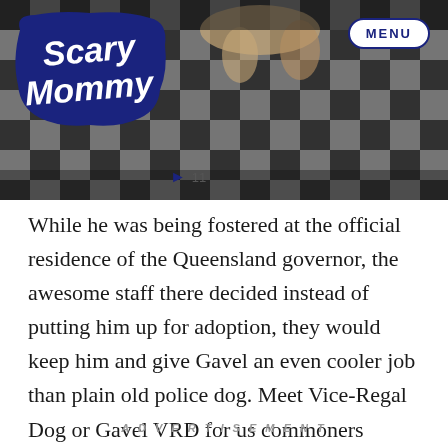[Figure (screenshot): Scary Mommy website header with logo on dark checkered/dog photo background, MENU button top right, share count of 11]
While he was being fostered at the official residence of the Queensland governor, the awesome staff there decided instead of putting him up for adoption, they would keep him and give Gavel an even cooler job than plain old police dog. Meet Vice-Regal Dog or Gavel VRD for us commoners (books non-stop flight to Queensland).
ADVERTISEMENT